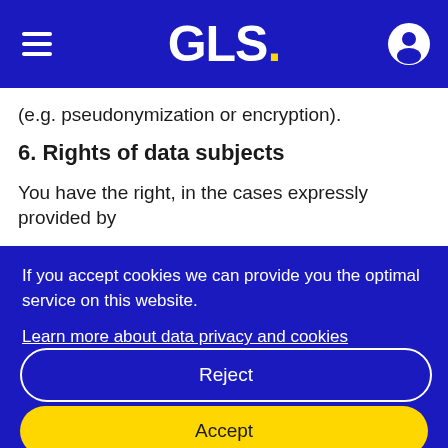GLS.
(e.g. pseudonymization or encryption).
6. Rights of data subjects
You have the right, in the cases expressly provided by
If you accept cookies we can provide you the optimal service on this website.
Learn more about data privacy and cookies
Reject
Accept